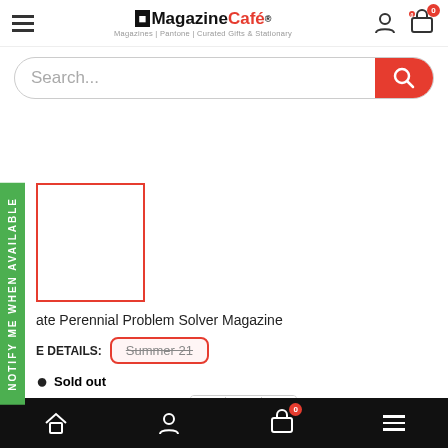[Figure (screenshot): Magazine Cafe logo with book icon, hamburger menu, user icon, and cart icon with badge showing 0]
[Figure (screenshot): Search bar with placeholder text 'Search...' and red search button]
[Figure (screenshot): Green vertical 'NOTIFY ME WHEN AVAILABLE' sidebar button on left]
[Figure (screenshot): Product image placeholder with red border]
ate Perennial Problem Solver Magazine
E DETAILS: Summer 21
Sold out
E: $11.99   QTY: − 1 +
[Figure (screenshot): Bottom navigation bar with home, user, cart (badge 0), and menu icons on black background]